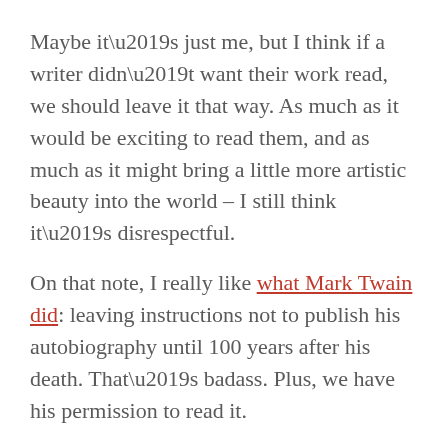Maybe it’s just me, but I think if a writer didn’t want their work read, we should leave it that way. As much as it would be exciting to read them, and as much as it might bring a little more artistic beauty into the world – I still think it’s disrespectful.
On that note, I really like what Mark Twain did: leaving instructions not to publish his autobiography until 100 years after his death. That’s badass. Plus, we have his permission to read it.
I hope it’s as awesome as it sounds
A bunch of millionaires and billionaires have pledged to give giant chunks, or in some cases “the vast majority,” of their fortunes to charitable causes. It’s all part of The Giving Pledge, apparently started by Bill